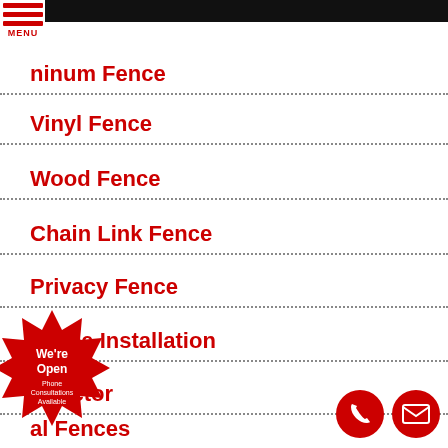[Figure (illustration): Black top navigation bar with hamburger menu icon (red lines) and MENU label on left side]
…ninum Fence
Vinyl Fence
Wood Fence
Chain Link Fence
Privacy Fence
Fence Installation
…ntractor
…al Fences
[Figure (illustration): Red starburst badge with text We're Open, Phone Consultations Available]
[Figure (illustration): Red circle phone icon and red circle mail/envelope icon at bottom right]